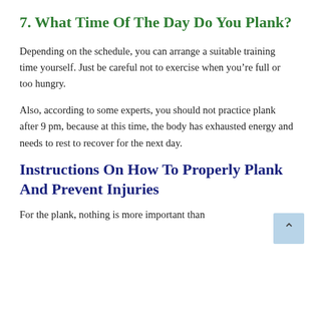7. What Time Of The Day Do You Plank?
Depending on the schedule, you can arrange a suitable training time yourself. Just be careful not to exercise when you’re full or too hungry.
Also, according to some experts, you should not practice plank after 9 pm, because at this time, the body has exhausted energy and needs to rest to recover for the next day.
Instructions On How To Properly Plank And Prevent Injuries
For the plank, nothing is more important than